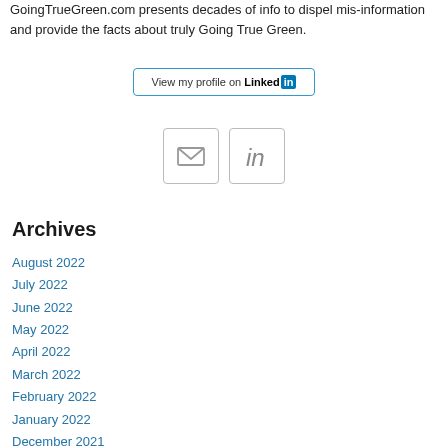GoingTrueGreen.com presents decades of info to dispel mis-information and provide the facts about truly Going True Green.
[Figure (other): LinkedIn profile button with text 'View my profile on LinkedIn']
[Figure (other): Two social icon buttons: email envelope icon and LinkedIn 'in' icon]
Archives
August 2022
July 2022
June 2022
May 2022
April 2022
March 2022
February 2022
January 2022
December 2021
November 2021
October 2021
September 2021